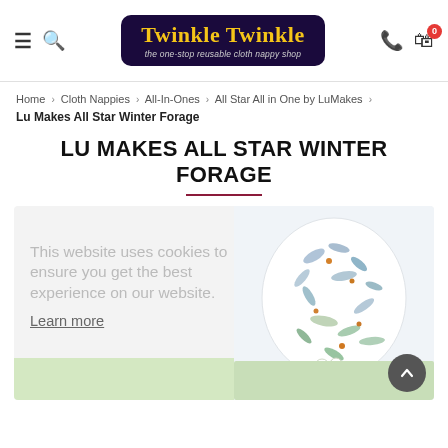[Figure (logo): Twinkle Twinkle logo — dark purple rounded rectangle with yellow bold text 'Twinkle Twinkle' and italic subtitle 'the one-stop reusable cloth nappy shop']
Home > Cloth Nappies > All-In-Ones > All Star All in One by LuMakes > Lu Makes All Star Winter Forage
LU MAKES ALL STAR WINTER FORAGE
[Figure (photo): Product photo of a cloth nappy (Lu Makes All Star Winter Forage) with a white background featuring blue-grey and green leaf/botanical pattern with orange berry details, displayed on a light green base.]
This website uses cookies to ensure you get the best experience on our website. Learn more